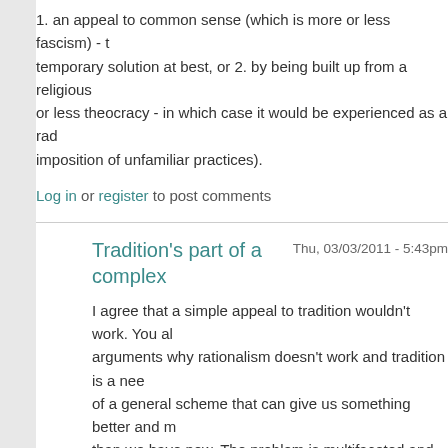1. an appeal to common sense (which is more or less fascism) - temporary solution at best, or 2. by being built up from a religious or less theocracy - in which case it would be experienced as a rad imposition of unfamiliar practices).
Log in or register to post comments
Tradition's part of a complex
Thu, 03/03/2011 - 5:43pm
I agree that a simple appeal to tradition wouldn't work. You al arguments why rationalism doesn't work and tradition is a nee of a general scheme that can give us something better and m than we have now. The problem is multifaceted and multileve response must be so as well.
The response I suggest in the entry starts with common sens with God and therefore a transformation of understandings th become customary and so appear commonsensical. So you'r could easily be seen as revolutionary, because it would kick c things that now seem commonsensical to most people.
It is better as a traditionalist. Eventhings bet traditionalists…